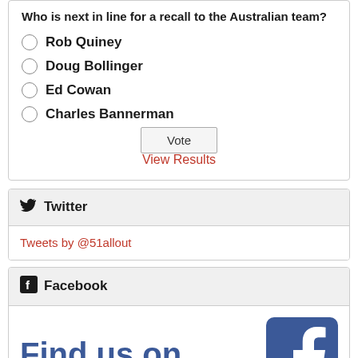Who is next in line for a recall to the Australian team?
Rob Quiney
Doug Bollinger
Ed Cowan
Charles Bannerman
Vote
View Results
Twitter
Tweets by @51allout
Facebook
Find us on